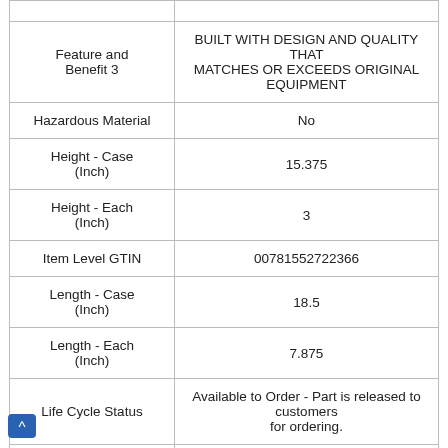| Feature/Attribute | Value |
| --- | --- |
| Feature and Benefit 3 | BUILT WITH DESIGN AND QUALITY THAT MATCHES OR EXCEEDS ORIGINAL EQUIPMENT |
| Hazardous Material | No |
| Height - Case (Inch) | 15.375 |
| Height - Each (Inch) | 3 |
| Item Level GTIN | 00781552722366 |
| Length - Case (Inch) | 18.5 |
| Length - Each (Inch) | 7.875 |
| Life Cycle Status | Available to Order - Part is released to customers for ordering. |
| Life Cycle Status Translation | Available to Order - Part is released to customers for ordering. |